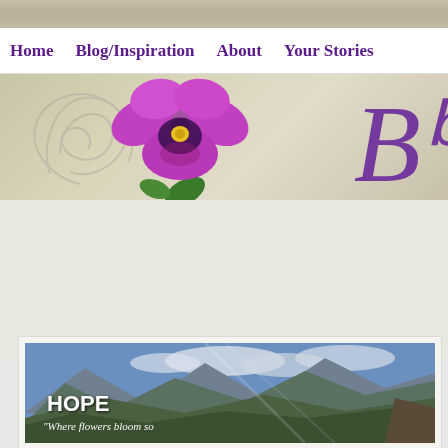Home   Blog/Inspiration   About   Your Stories
[Figure (photo): Website banner header showing a large purple pansy flower on a sandy/stone background with a decorative cursive letter B in purple on the right side, and a grey swirl decoration on the left.]
[Figure (photo): Mountain landscape photo with text overlay reading HOPE and italic subtitle text 'Where flowers bloom so...' in white on a scenic mountain background with green slopes and cloudy sky.]